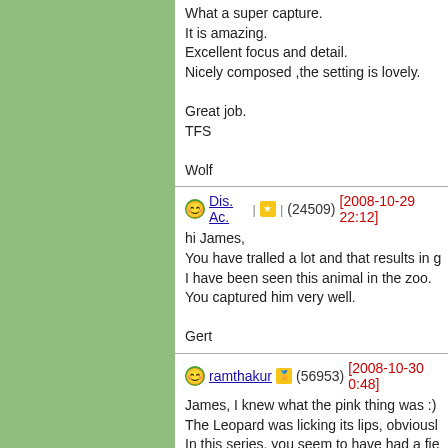What a super capture.
It is amazing.
Excellent focus and detail.
Nicely composed ,the setting is lovely.

Great job.
TFS

Wolf
Dis. Ac. | ★ | (24509) [2008-10-29 22:12]
hi James,
You have tralled a lot and that results in g
I have been seen this animal in the zoo.
You captured him very well.

Gert
ramthakur | 🏅 | (56953) [2008-10-30 0:48]
James, I knew what the pink thing was :)
The Leopard was licking its lips, obviousl
In this series, you seem to have had a fie
This is a wonderful shot of the Leopard w
Thanks and regards.
albert | 🏅 | (2971) [2008-10-30 1:25]
Hello James
Great photo of a exciting moment,lucky y